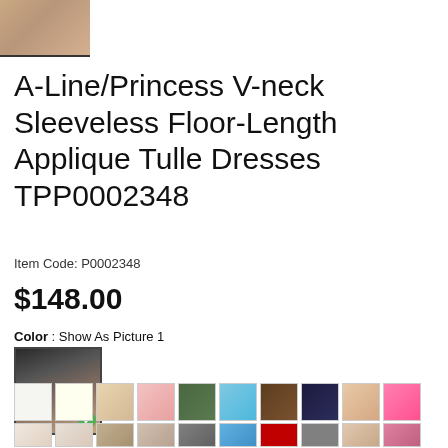[Figure (photo): Thumbnail image of dress at top left, partially visible]
A-Line/Princess V-neck Sleeveless Floor-Length Applique Tulle Dresses TPP0002348
Item Code: P0002348
$148.00
Color : Show As Picture 1
[Figure (photo): Selected dress color swatch showing dark/champagne dress with green checkmark]
[Figure (photo): Row of 10 color swatches: white, ivory, champagne, blush, sage green, sky blue, brown, navy, nude, pink]
[Figure (photo): Partial second row of color swatches at bottom]